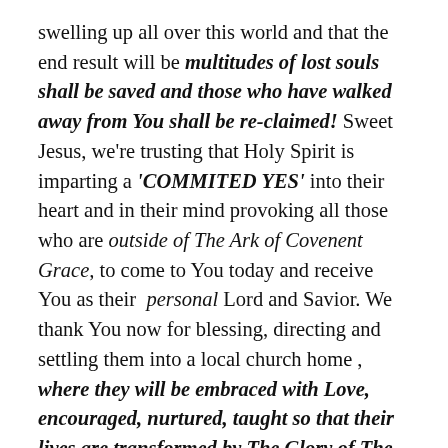swelling up all over this world and that the end result will be multitudes of lost souls shall be saved and those who have walked away from You shall be re-claimed! Sweet Jesus, we're trusting that Holy Spirit is imparting a 'COMMITED YES' into their heart and in their mind provoking all those who are outside of The Ark of Covenent Grace, to come to You today and receive You as their personal Lord and Savior. We thank You now for blessing, directing and settling them into a local church home , where they will be embraced with Love, encouraged, nurtured, taught so that their lives are transformed by The Glory of The Lord! Lord, we pray for every soul who is going thru a season of grief because of the lost of a loved one,